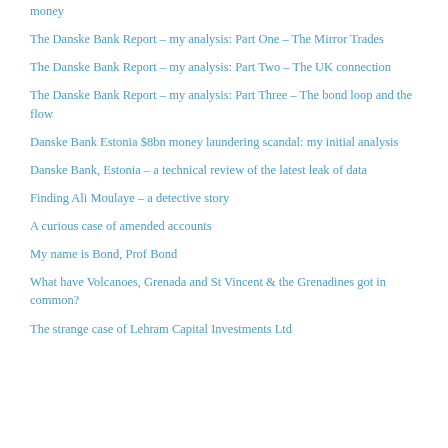money
The Danske Bank Report – my analysis: Part One – The Mirror Trades
The Danske Bank Report – my analysis: Part Two – The UK connection
The Danske Bank Report – my analysis: Part Three – The bond loop and the flow
Danske Bank Estonia $8bn money laundering scandal: my initial analysis
Danske Bank, Estonia – a technical review of the latest leak of data
Finding Ali Moulaye – a detective story
A curious case of amended accounts
My name is Bond, Prof Bond
What have Volcanoes, Grenada and St Vincent & the Grenadines got in common?
The strange case of Lehram Capital Investments Ltd